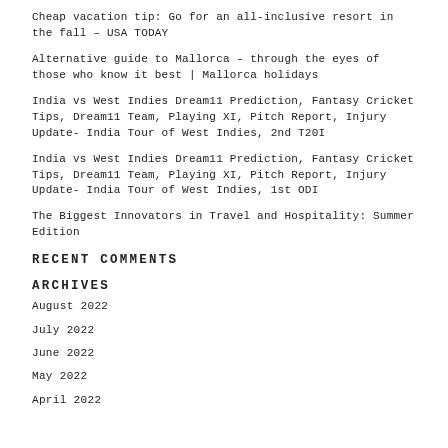Cheap vacation tip: Go for an all-inclusive resort in the fall – USA TODAY
Alternative guide to Mallorca – through the eyes of those who know it best | Mallorca holidays
India vs West Indies Dream11 Prediction, Fantasy Cricket Tips, Dream11 Team, Playing XI, Pitch Report, Injury Update- India Tour of West Indies, 2nd T20I
India vs West Indies Dream11 Prediction, Fantasy Cricket Tips, Dream11 Team, Playing XI, Pitch Report, Injury Update- India Tour of West Indies, 1st ODI
The Biggest Innovators in Travel and Hospitality: Summer Edition
RECENT COMMENTS
ARCHIVES
August 2022
July 2022
June 2022
May 2022
April 2022